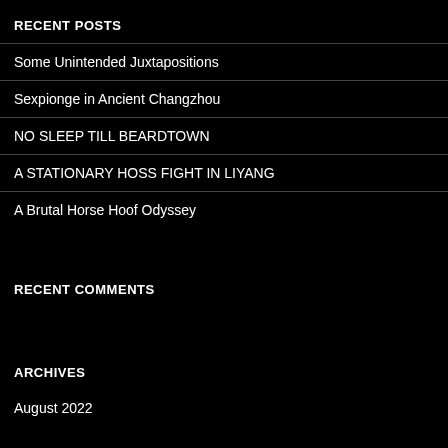RECENT POSTS
Some Unintended Juxtapositions
Sexpionge in Ancient Changzhou
NO SLEEP TILL BEARDTOWN
A STATIONARY HOSS FIGHT IN LIYANG
A Brutal Horse Hoof Odyssey
RECENT COMMENTS
ARCHIVES
August 2022